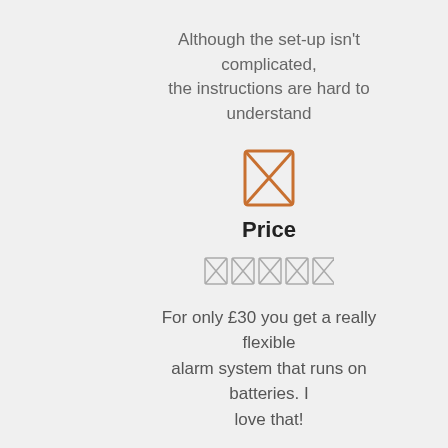Although the set-up isn’t complicated, the instructions are hard to understand
[Figure (illustration): Orange hourglass icon (broken image placeholder)]
Price
[Figure (illustration): Five small gray broken image placeholder icons in a row (rating)]
For only £30 you get a really flexible alarm system that runs on batteries. I love that!
[Figure (illustration): Orange hourglass icon (broken image placeholder)]